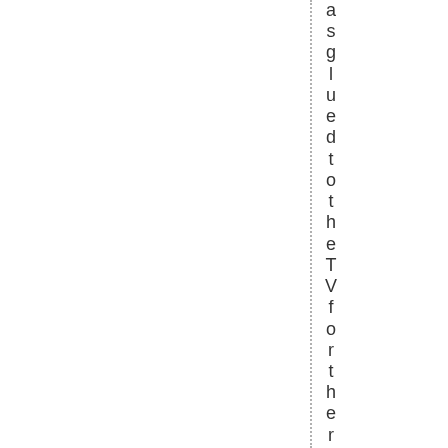as glued to the TV for the royal weddi